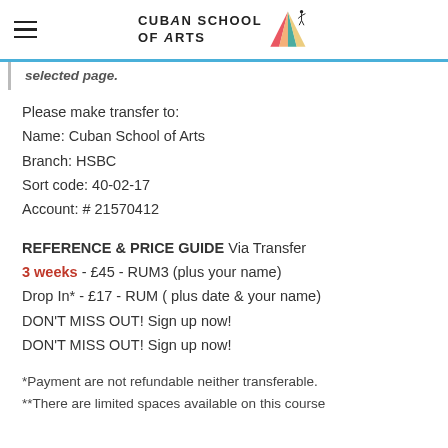Cuban School of Arts
... fill up the booking form at the end of the date you selected page.
Please make transfer to:
Name: Cuban School of Arts
Branch: HSBC
Sort code: 40-02-17
Account: # 21570412
REFERENCE & PRICE GUIDE Via Transfer
3 weeks - £45 - RUM3 (plus your name)
Drop In* - £17 - RUM ( plus date & your name)
DON'T MISS OUT! Sign up now!
DON'T MISS OUT! Sign up now!
*Payment are not refundable neither transferable.
**There are limited spaces available on this course